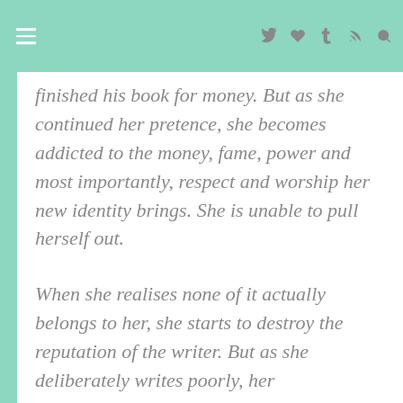≡ 𝕏 ♥ t ⌂ 🔍
finished his book for money. But as she continued her pretence, she becomes addicted to the money, fame, power and most importantly, respect and worship her new identity brings. She is unable to pull herself out.
When she realises none of it actually belongs to her, she starts to destroy the reputation of the writer. But as she deliberately writes poorly, her